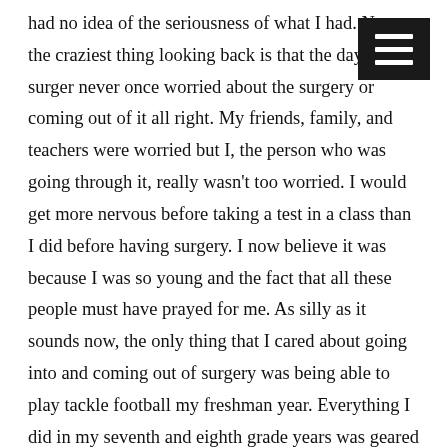had no idea of the seriousness of what I had. Now, the craziest thing looking back is that the day of the surgery, never once worried about the surgery or coming out of it all right. My friends, family, and teachers were worried but I, the person who was going through it, really wasn't too worried. I would get more nervous before taking a test in a class than I did before having surgery. I now believe it was because I was so young and the fact that all these people must have prayed for me. As silly as it sounds now, the only thing that I cared about going into and coming out of surgery was being able to play tackle football my freshman year. Everything I did in my seventh and eighth grade years was geared towards being successful in football. Football was my life and now, reluctantly and with the advice of my parents and my